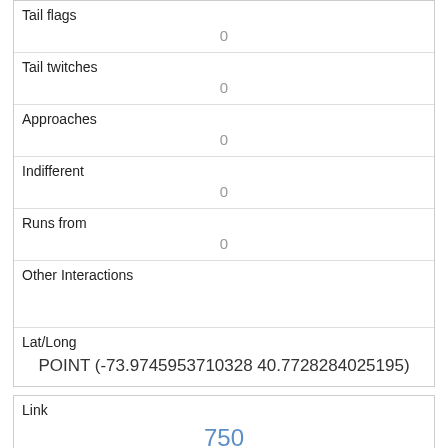| Tail flags | 0 |
| Tail twitches | 0 |
| Approaches | 0 |
| Indifferent | 0 |
| Runs from | 0 |
| Other Interactions |  |
| Lat/Long | POINT (-73.9745953710328 40.7728284025195) |
| Link | 750 |
| rowid | 750 |
| longitude | -73.96996720741642 |